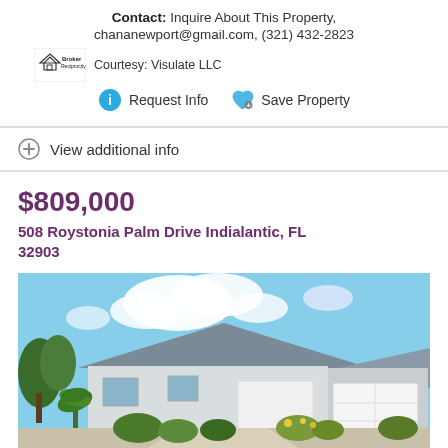Contact: Inquire About This Property, chananewport@gmail.com, (321) 432-2823
Broker Reciprocity  Courtesy: Visulate LLC
Request Info  Save Property
View additional info
$809,000
508 Roystonia Palm Drive Indialantic, FL 32903
[Figure (photo): Exterior photo of a single-story house with gray roof, white walls, tropical landscaping, and a white garage door under a partly cloudy sky.]